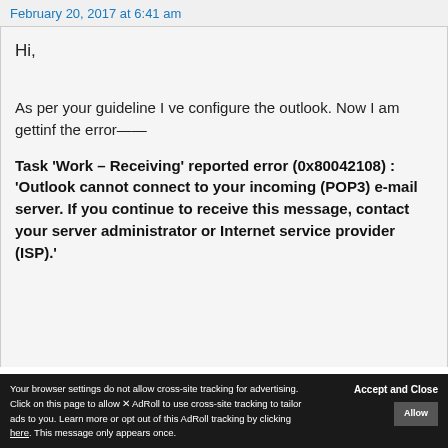February 20, 2017 at 6:41 am
Hi,
As per your guideline I ve configure the outlook. Now I am gettinf the error——
Task ‘Work – Receiving’ reported error (0x80042108) : ‘Outlook cannot connect to your incoming (POP3) e-mail server. If you continue to receive this message, contact your server administrator or Internet service provider (ISP).’
Accept and Close
Your browser settings do not allow cross-site tracking for advertising. Click on this page to allow AdRoll to use cross-site tracking to tailor ads to you. Learn more or opt out of this AdRoll tracking by clicking here. This message only appears once.